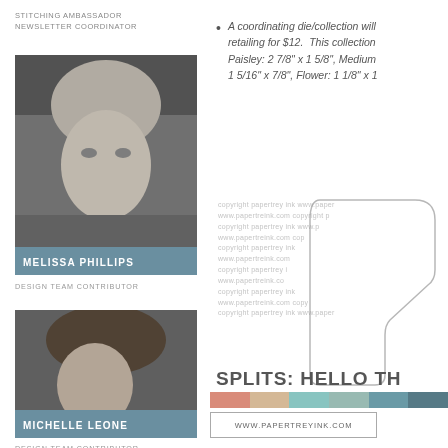STITCHING AMBASSADOR
NEWSLETTER COORDINATOR
[Figure (photo): Black and white headshot of Melissa Phillips, a woman with short light hair]
MELISSA PHILLIPS
DESIGN TEAM CONTRIBUTOR
[Figure (photo): Black and white headshot of Michelle Leone, a woman with medium-length hair]
MICHELLE LEONE
DESIGN TEAM CONTRIBUTOR
A coordinating die/collection will retailing for $12. This collection Paisley: 2 7/8" x 1 5/8", Medium 1 5/16" x 7/8", Flower: 1 1/8" x 1
copyright papertrey ink www.paper www.papertreink.com copyright p copyright papertrey ink www.p www.papertreink.com cop copyright papertrey ink www.papertreink.com copyright papertrey ink www.papertreink.com copyright papertrey ink www.paper
[Figure (illustration): Outline of a die cut shape resembling a decorative tag or label]
SPLITS: HELLO TH
[Figure (infographic): Row of color swatches: salmon/coral, peach/tan, light teal/aqua, muted teal/sage, dark teal/slate]
WWW.PAPERTREYINK.COM